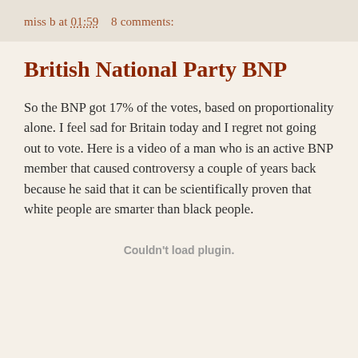miss b at 01:59    8 comments:
British National Party BNP
So the BNP got 17% of the votes, based on proportionality alone. I feel sad for Britain today and I regret not going out to vote. Here is a video of a man who is an active BNP member that caused controversy a couple of years back because he said that it can be scientifically proven that white people are smarter than black people.
Couldn't load plugin.